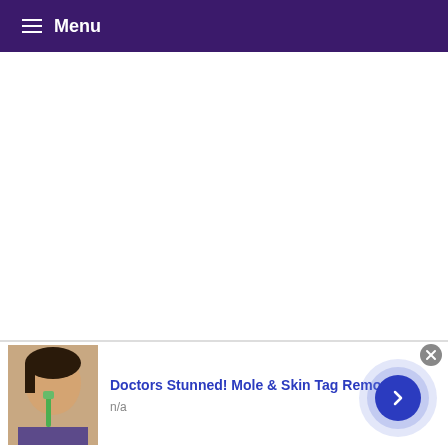Menu
[Figure (screenshot): Website screenshot with purple navigation bar showing hamburger menu icon and 'Menu' text label]
Doctors Stunned! Mole & Skin Tag Removal
n/a